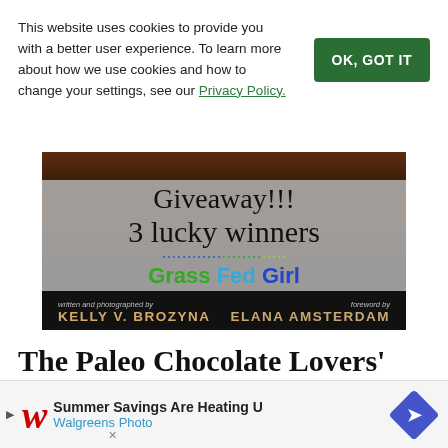This website uses cookies to provide you with a better user experience. To learn more about how we use cookies and how to change your settings, see our Privacy Policy.
OK, GOT IT
[Figure (photo): Giveaway promotional image for the book 'Grass Fed Girl' by Kelly V. Brozyna with foreword by Elana Amsterdam. Shows 3 lucky winners text over a dark food photography background with clover leaves and raspberries.]
The Paleo Chocolate Lovers'
[Figure (infographic): Walgreens Photo advertisement banner: 'Summer Savings Are Heating U - Walgreens Photo' with Walgreens logo and blue diamond arrow icon.]